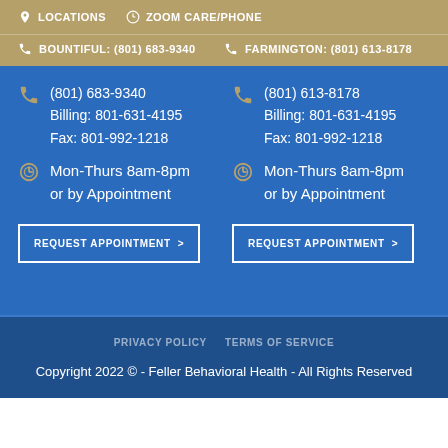LOCATIONS   ZOOM CARE/PHONE
BOUNTIFUL: (801) 683-9340   FARMINGTON: (801) 613-8178
(801) 683-9340
Billing: 801-631-4195
Fax: 801-992-1218
(801) 613-8178
Billing: 801-631-4195
Fax: 801-992-1218
Mon-Thurs 8am-8pm
or by Appointment
Mon-Thurs 8am-8pm
or by Appointment
REQUEST APPOINTMENT >
REQUEST APPOINTMENT >
PRIVACY POLICY   TERMS OF SERVICE
Copyright 2022 © - Feller Behavioral Health - All Rights Reserved